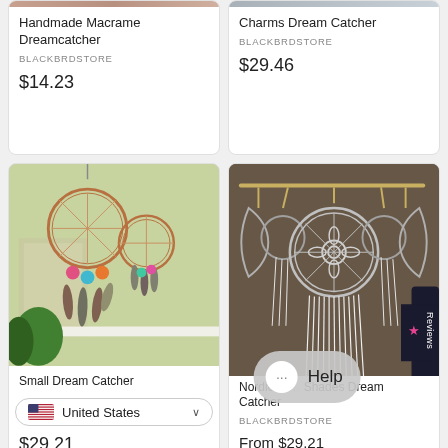[Figure (photo): Handmade macrame dreamcatcher product image (cropped at top)]
Handmade Macrame Dreamcatcher
BLACKBRDSTORE
$14.23
[Figure (photo): Charms Dream Catcher product image (cropped at top)]
Charms Dream Catcher
BLACKBRDSTORE
$29.46
[Figure (photo): Small dream catcher earrings hanging outdoors with colorful pom-poms and feathers]
Small Dream Catcher
United States
$29.21
[Figure (photo): Nordic style boho wall hanging dream catcher with white fringe and geometric metal circles on dark background]
Nordic W... Shades Dream Catcher
BLACKBRDSTORE
From $29.21